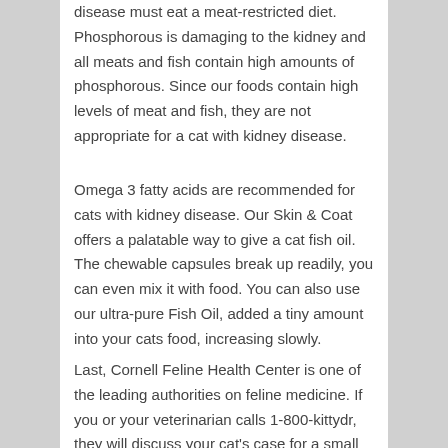disease must eat a meat-restricted diet. Phosphorous is damaging to the kidney and all meats and fish contain high amounts of phosphorous. Since our foods contain high levels of meat and fish, they are not appropriate for a cat with kidney disease.
Omega 3 fatty acids are recommended for cats with kidney disease. Our Skin & Coat offers a palatable way to give a cat fish oil. The chewable capsules break up readily, you can even mix it with food. You can also use our ultra-pure Fish Oil, added a tiny amount into your cats food, increasing slowly.
Last, Cornell Feline Health Center is one of the leading authorities on feline medicine. If you or your veterinarian calls 1-800-kittydr, they will discuss your cat's case for a small fee.